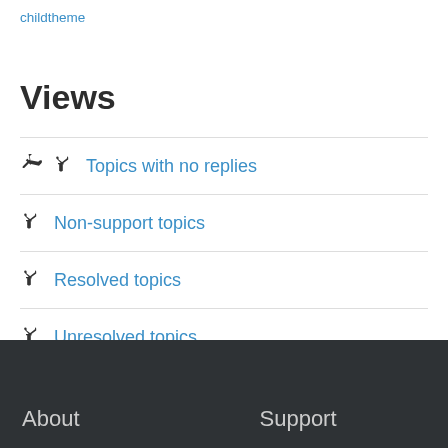childtheme
Views
Topics with no replies
Non-support topics
Resolved topics
Unresolved topics
All topics
About    Support